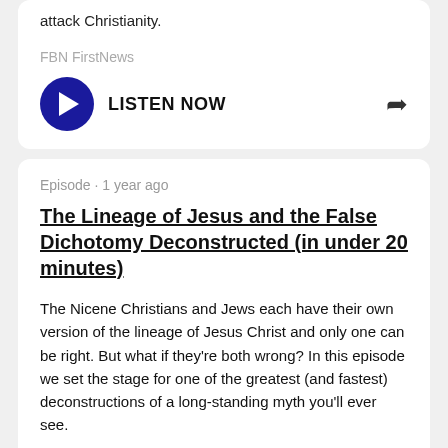attack Christianity.
FBN FirstNews
LISTEN NOW
Episode · 1 year ago
The Lineage of Jesus and the False Dichotomy Deconstructed (in under 20 minutes)
The Nicene Christians and Jews each have their own version of the lineage of Jesus Christ and only one can be right. But what if they're both wrong? In this episode we set the stage for one of the greatest (and fastest) deconstructions of a long-standing myth you'll ever see.
First Bible Network